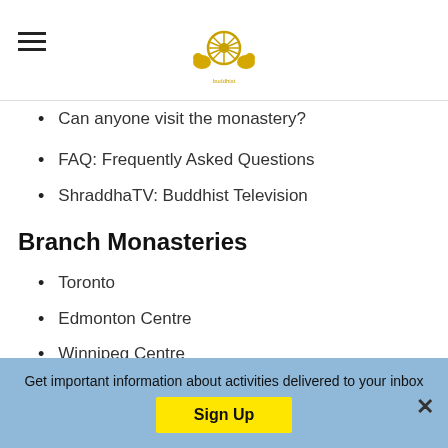[Logo: Buddhist wheel emblem with lions]
Can anyone visit the monastery?
FAQ: Frequently Asked Questions
ShraddhaTV: Buddhist Television
Branch Monasteries
Toronto
Edmonton Centre
Winnipeg Centre
Vancouver Centre
Our Headquarters in Sri Lanka
Buddha Meditation Centre Halton Hills (Milton)
Get important information about activities delivered to your inbox  Sign Up